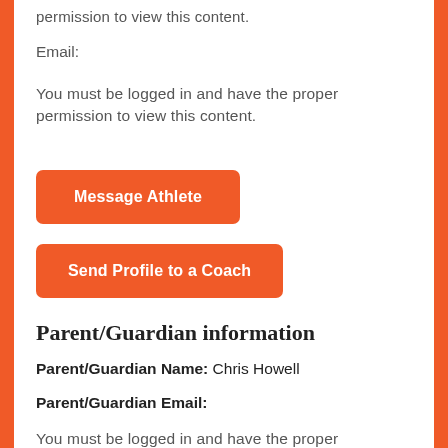permission to view this content.
Email:
You must be logged in and have the proper permission to view this content.
Message Athlete
Send Profile to a Coach
Parent/Guardian information
Parent/Guardian Name: Chris Howell
Parent/Guardian Email:
You must be logged in and have the proper